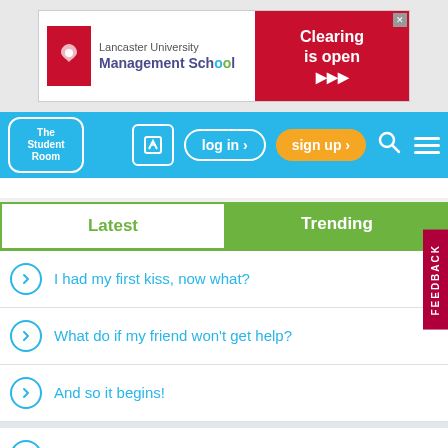[Figure (screenshot): Lancaster University Management School advertisement banner with red and white logo on left and red 'Clearing is open' section on right]
[Figure (screenshot): The Student Room website navigation bar with logo, edit button, log in, sign up, search and menu icons on blue background]
Latest | Trending
I had my first kiss, now what?
What do if my friend won't get help?
And so it begins!
The daily Wordle puzzle thread!
How do I convince my Pakistani parents to let me move to uni?
What is a cell